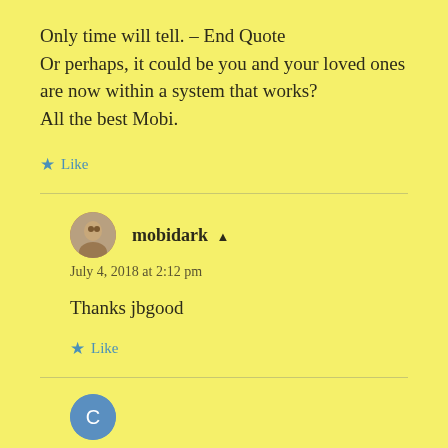Only time will tell. – End Quote
Or perhaps, it could be you and your loved ones are now within a system that works?
All the best Mobi.
★ Like
mobidark ▲
July 4, 2018 at 2:12 pm
Thanks jbgood
★ Like